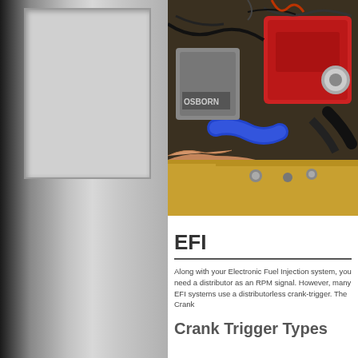[Figure (photo): Engine bay photo showing an EFI engine with red valve cover, blue silicone intake hose, wiring harness, and a hand holding open the hood of a yellow car]
EFI
Along with your Electronic Fuel Injection system, you need a distributor as an RPM signal. However, many EFI systems use a distributorless crank-trigger. The Crank
Crank Trigger Types